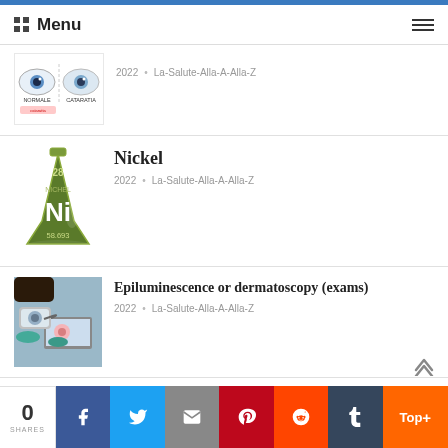Menu
[Figure (photo): Two illustrated eyes comparing normal vs. cataract vision with Italian labels NORMALE and CATARATIA]
2022 • La-Salute-Alla-A-Alla-Z
[Figure (photo): Green chemistry flask with element symbol Ni, atomic number 28, NICHEL label and mass 58.693 — periodic table style illustration]
Nickel
2022 • La-Salute-Alla-A-Alla-Z
[Figure (photo): Medical professional performing epiluminescence/dermatoscopy exam on patient skin using a handheld device connected to a laptop]
Epiluminescence or dermatoscopy (exams)
2022 • La-Salute-Alla-A-Alla-Z
[Figure (photo): Illustration for general anesthesia article showing medical figures on a light background]
General anesthesia
0 SHARES | Facebook | Twitter | Email | Pinterest | Reddit | Tumblr | Top+